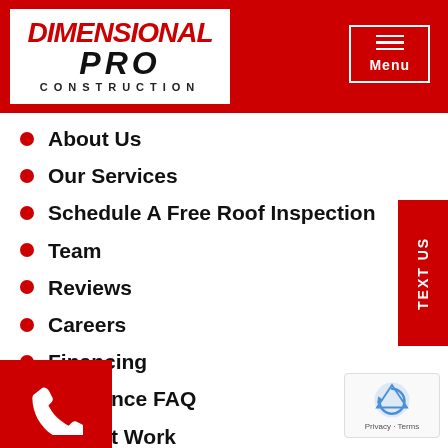[Figure (logo): Dimensional Pro Construction logo - red and black text with house graphic]
[Figure (other): Menu button with hamburger icon lines inside a white border box]
About Us
Our Services
Schedule A Free Roof Inspection
Team
Reviews
Careers
Financing
Insurance FAQ
Recent Work
Leave Us A Review
Areas Served
Privacy Policy
Blogs